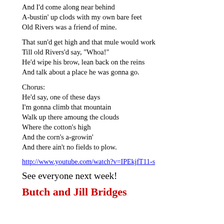And I'd come along near behind
A-bustin' up clods with my own bare feet
Old Rivers was a friend of mine.
That sun'd get high and that mule would work
Till old Rivers'd say, "Whoa!"
He'd wipe his brow, lean back on the reins
And talk about a place he was gonna go.
Chorus:
He'd say, one of these days
I'm gonna climb that mountain
Walk up there amoung the clouds
Where the cotton's high
And the corn's a-growin'
And there ain't no fields to plow.
http://www.youtube.com/watch?v=IPEkjfT11-s
See everyone next week!
Butch and Jill Bridges